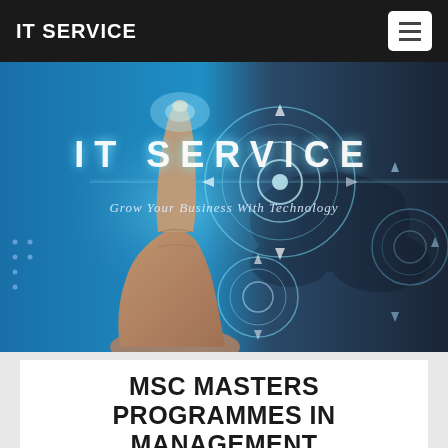IT SERVICE
[Figure (screenshot): Hero banner image showing a finger touching a glowing digital interface with the text 'IT SERVICE' and tagline 'Grow Your Business With Technology' on a blue and dark background]
MSC MASTERS PROGRAMMES IN MANAGEMENT